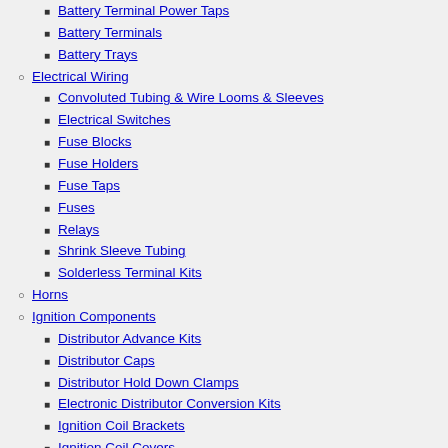Battery Terminal Power Taps
Battery Terminals
Battery Trays
Electrical Wiring
Convoluted Tubing & Wire Looms & Sleeves
Electrical Switches
Fuse Blocks
Fuse Holders
Fuse Taps
Fuses
Relays
Shrink Sleeve Tubing
Solderless Terminal Kits
Horns
Ignition Components
Distributor Advance Kits
Distributor Caps
Distributor Hold Down Clamps
Electronic Distributor Conversion Kits
Ignition Coil Brackets
Ignition Coil Covers
Ignition Coils
Sensors & Switches
Oxygen Sensors
Spark Plug Wires & Accessories